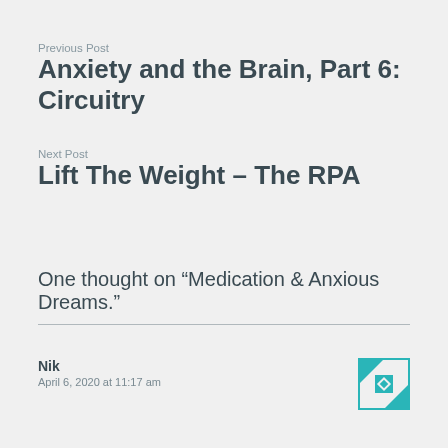Previous Post
Anxiety and the Brain, Part 6: Circuitry
Next Post
Lift The Weight – The RPA
One thought on “Medication & Anxious Dreams.”
Nik
April 6, 2020 at 11:17 am